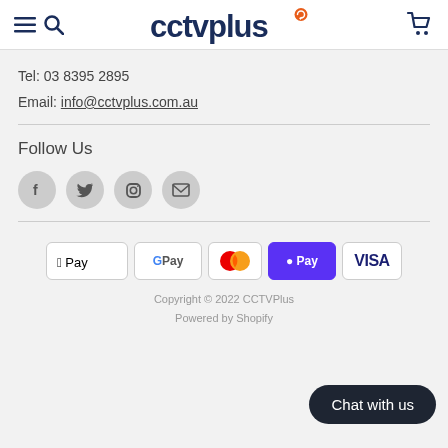cctvplus
Tel: 03 8395 2895
Email: info@cctvplus.com.au
Follow Us
[Figure (infographic): Social media icons: Facebook, Twitter, Instagram, Email (envelope), all in grey circles]
[Figure (infographic): Payment method badges: Apple Pay, Google Pay, Mastercard, Shopify Pay, Visa]
Copyright © 2022 CCTVPlus
Powered by Shopify